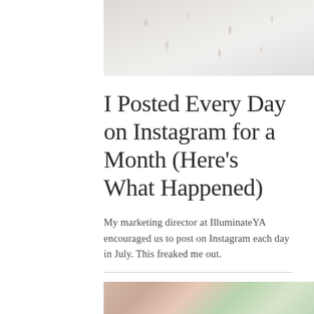[Figure (photo): Top portion of a white/light grey fluffy fur texture photo, cropped at top and sides]
I Posted Every Day on Instagram for a Month (Here's What Happened)
My marketing director at IlluminateYA encouraged us to post on Instagram each day in July. This freaked me out.
[Figure (photo): Bottom portion showing a floral/garden scene with pink flowers and green leaves, warm tones]